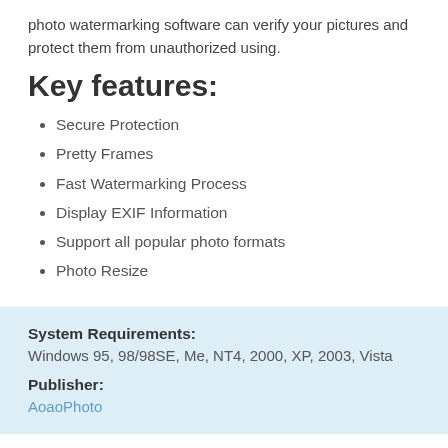photo watermarking software can verify your pictures and protect them from unauthorized using.
Key features:
Secure Protection
Pretty Frames
Fast Watermarking Process
Display EXIF Information
Support all popular photo formats
Photo Resize
System Requirements: Windows 95, 98/98SE, Me, NT4, 2000, XP, 2003, Vista
Publisher: AoaoPhoto